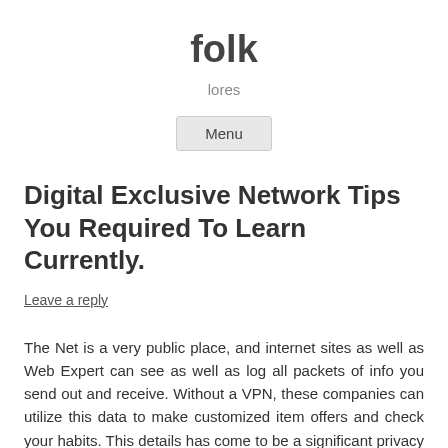folk
lores
Menu
Digital Exclusive Network Tips You Required To Learn Currently.
Leave a reply
The Net is a very public place, and internet sites as well as Web Expert can see as well as log all packets of info you send out and receive. Without a VPN, these companies can utilize this data to make customized item offers and check your habits. This details has come to be a significant privacy concern, as well as billions of people are affected every year